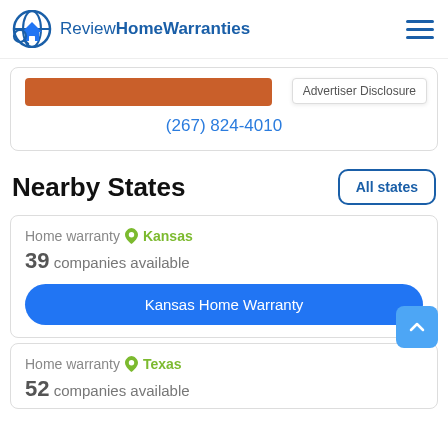ReviewHomeWarranties
[Figure (screenshot): Partial orange button bar and phone number (267) 824-4010 with Advertiser Disclosure tooltip]
Nearby States
All states
Home warranty Kansas — 39 companies available
Kansas Home Warranty
Home warranty Texas — 52 companies available